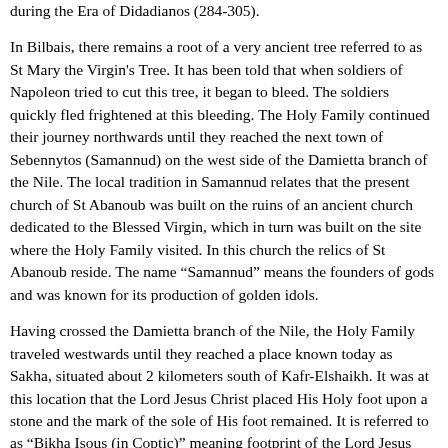during the Era of Didadianos (284-305).
In Bilbais, there remains a root of a very ancient tree referred to as St Mary the Virgin's Tree. It has been told that when soldiers of Napoleon tried to cut this tree, it began to bleed. The soldiers quickly fled frightened at this bleeding. The Holy Family continued their journey northwards until they reached the next town of Sebennytos (Samannud) on the west side of the Damietta branch of the Nile. The local tradition in Samannud relates that the present church of St Abanoub was built on the ruins of an ancient church dedicated to the Blessed Virgin, which in turn was built on the site where the Holy Family visited. In this church the relics of St Abanoub reside. The name “Samannud” means the founders of gods and was known for its production of golden idols.
Having crossed the Damietta branch of the Nile, the Holy Family traveled westwards until they reached a place known today as Sakha, situated about 2 kilometers south of Kafr-Elshaikh. It was at this location that the Lord Jesus Christ placed His Holy foot upon a stone and the mark of the sole of His foot remained. It is referred to as “Bikha Isous (in Coptic)” meaning footprint of the Lord Jesus Christ. This stone was discovered about 1986 AD during excavations of a church. St Simon who stood for 50 years over the Pillar in the 7th Century distinguished the town of Sakha. St Saverius the Antiochian